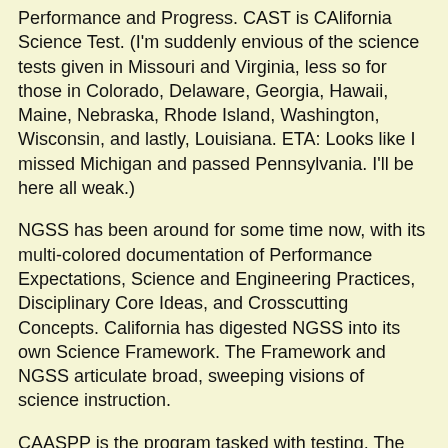Performance and Progress. CAST is CAlifornia Science Test. (I'm suddenly envious of the science tests given in Missouri and Virginia, less so for those in Colorado, Delaware, Georgia, Hawaii, Maine, Nebraska, Rhode Island, Washington, Wisconsin, and lastly, Louisiana. ETA: Looks like I missed Michigan and passed Pennsylvania. I'll be here all weak.)
NGSS has been around for some time now, with its multi-colored documentation of Performance Expectations, Science and Engineering Practices, Disciplinary Core Ideas, and Crosscutting Concepts. California has digested NGSS into its own Science Framework. The Framework and NGSS articulate broad, sweeping visions of science instruction.
CAASPP is the program tasked with testing. The previous iteration of this (in California) was State Testing And Reporting (STAR). This is where the lofty visions presented in the vision documents (NGSS/Framework this time) must be broken down into test questions ("assessment items"). As it was during the STAR era, the California Department of Education (CDE) has contracted the services of Educational Testing Service (ETS) to develop the CAST. (The...